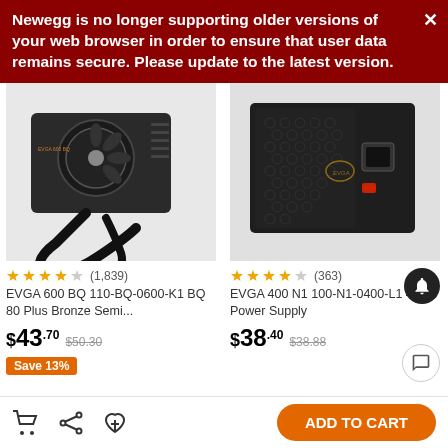Newegg is no longer supporting older versions of your web browser in order to ensure that user data remains secure. Please update to the latest version.
[Figure (photo): EVGA 600 BQ power supply unit with braided cable]
[Figure (photo): EVGA 400 N1 power supply unit (black box)]
(1,839) EVGA 600 BQ 110-BQ-0600-K1 BQ 80 Plus Bronze Semi... $43.70 $50.30 Save 13%
(363) EVGA 400 N1 100-N1-0400-L1 400W Power Supply $38.40 $38.88
ADD TO CART